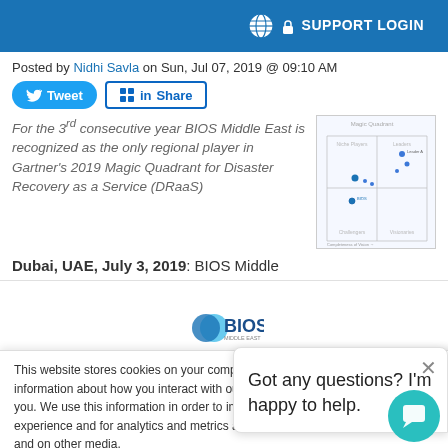SUPPORT LOGIN
Posted by Nidhi Savla on Sun, Jul 07, 2019 @ 09:10 AM
Tweet  Share
For the 3rd consecutive year BIOS Middle East is recognized as the only regional player in Gartner's 2019 Magic Quadrant for Disaster Recovery as a Service (DRaaS)
[Figure (other): Gartner Magic Quadrant chart thumbnail]
Dubai, UAE, July 3, 2019: BIOS Middle
[Figure (logo): BIOS Middle East logo]
This website stores cookies on your computer. These cookies are used to collect information about how you interact with our website and allow us to remember you. We use this information in order to improve and customize your browsing experience and for analytics and metrics about our visitors both on this website and on other media.
Got any questions? I'm happy to help.
Accept